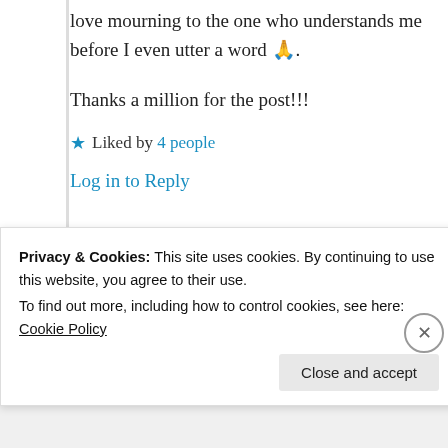love mourning to the one who understands me before I even utter a word 🙏.
Thanks a million for the post!!!
★ Liked by 4 people
Log in to Reply
Suma Reddy
Privacy & Cookies: This site uses cookies. By continuing to use this website, you agree to their use. To find out more, including how to control cookies, see here: Cookie Policy
Close and accept